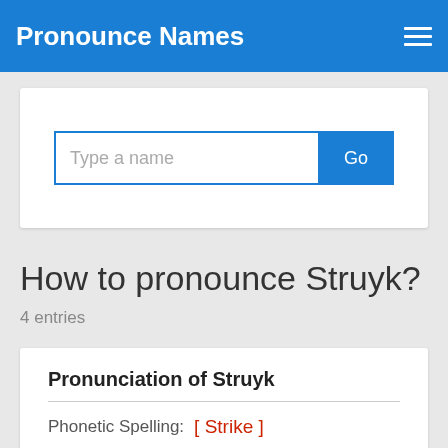Pronounce Names
[Figure (screenshot): Search input box with placeholder 'Type a name' and a blue 'Go' button]
How to pronounce Struyk?
4 entries
Pronunciation of Struyk
Phonetic Spelling: [ Strike ]